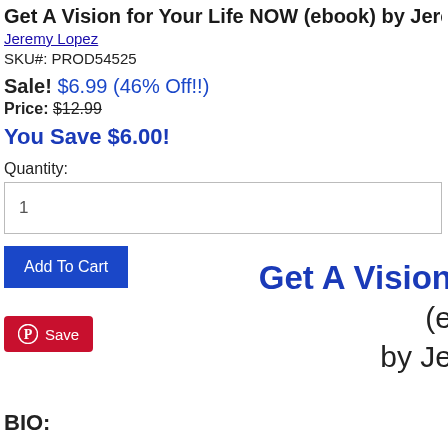Get A Vision for Your Life NOW (ebook) by Jeremy Lopez
Jeremy Lopez
SKU#: PROD54525
Sale! $6.99 (46% Off!!)
Price: $12.99
You Save $6.00!
Quantity:
1
Add To Cart
Save
Get A Vision (ebook) by Jeremy
BIO: